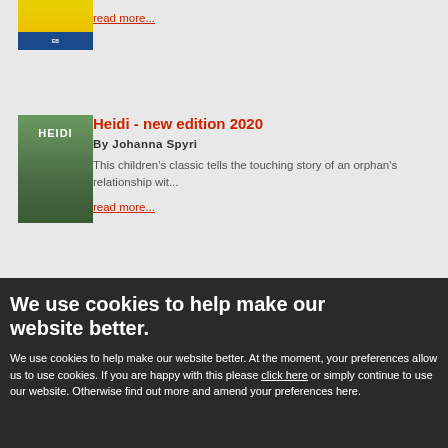[Figure (illustration): Partial book cover for Erich Kastner title, yellow cover with blue publisher badge]
read more...
[Figure (illustration): Book cover for Heidi - new edition 2020 by Johanna Spyri, showing a child and adult walking on a path]
Heidi - new edition 2020
By Johanna Spyri
This children's classic tells the touching story of an orphan's relationship wit...
read more...
We use cookies to help make our website better.
We use cookies to help make our website better. At the moment, your preferences allow us to use cookies. If you are happy with this please click here or simply continue to use our website. Otherwise find out more and amend your preferences here.